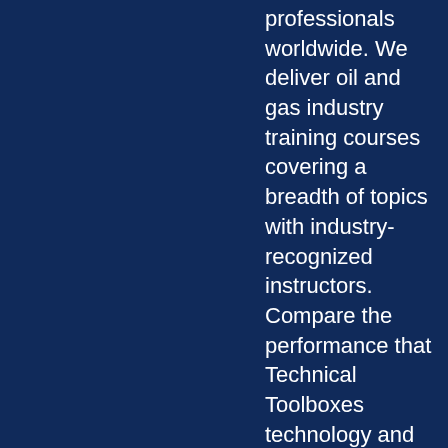professionals worldwide. We deliver oil and gas industry training courses covering a breadth of topics with industry-recognized instructors. Compare the performance that Technical Toolboxes technology and training can make in pipeline engineering performance and you'll see a measurable difference. Our fit-for-purpose pipeline engineering software platform will help you reduce risk, lower the total cost of operations, and accelerate project